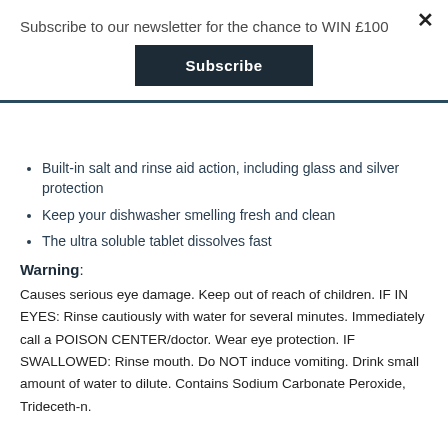Subscribe to our newsletter for the chance to WIN £100
Subscribe
Built-in salt and rinse aid action, including glass and silver protection
Keep your dishwasher smelling fresh and clean
The ultra soluble tablet dissolves fast
Warning:
Causes serious eye damage. Keep out of reach of children. IF IN EYES: Rinse cautiously with water for several minutes. Immediately call a POISON CENTER/doctor. Wear eye protection. IF SWALLOWED: Rinse mouth. Do NOT induce vomiting. Drink small amount of water to dilute. Contains Sodium Carbonate Peroxide, Trideceth-n.